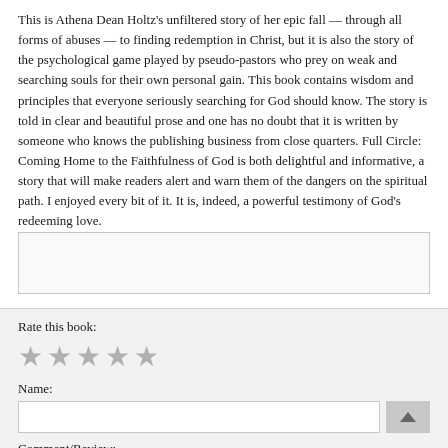This is Athena Dean Holtz's unfiltered story of her epic fall — through all forms of abuses — to finding redemption in Christ, but it is also the story of the psychological game played by pseudo-pastors who prey on weak and searching souls for their own personal gain. This book contains wisdom and principles that everyone seriously searching for God should know. The story is told in clear and beautiful prose and one has no doubt that it is written by someone who knows the publishing business from close quarters. Full Circle: Coming Home to the Faithfulness of God is both delightful and informative, a story that will make readers alert and warn them of the dangers on the spiritual path. I enjoyed every bit of it. It is, indeed, a powerful testimony of God's redeeming love.
Rate this book:
[Figure (other): Five gray star rating icons for rating the book]
Name:
Comment/Review: